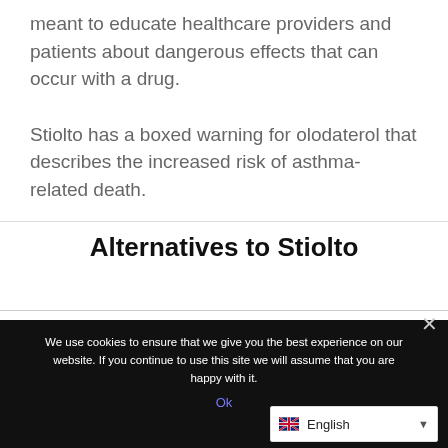meant to educate healthcare providers and patients about dangerous effects that can occur with a drug.
Stiolto has a boxed warning for olodaterol that describes the increased risk of asthma-related death.
Alternatives to Stiolto
We use cookies to ensure that we give you the best experience on our website. If you continue to use this site we will assume that you are happy with it.
Ok